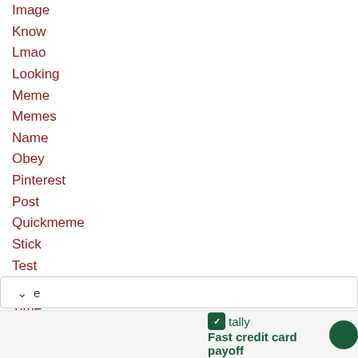Image
Know
Lmao
Looking
Meme
Memes
Name
Obey
Pinterest
Post
Quickmeme
Stick
Test
Thursday
Time
When
Fast credit card payoff